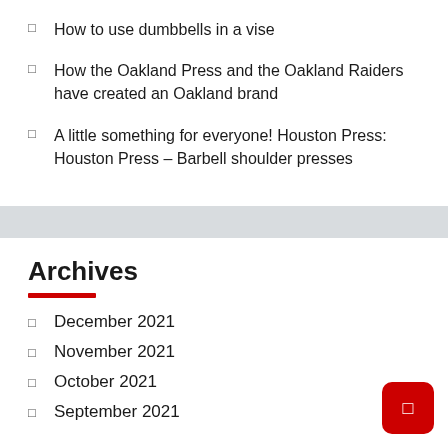How to use dumbbells in a vise
How the Oakland Press and the Oakland Raiders have created an Oakland brand
A little something for everyone! Houston Press: Houston Press – Barbell shoulder presses
Archives
December 2021
November 2021
October 2021
September 2021